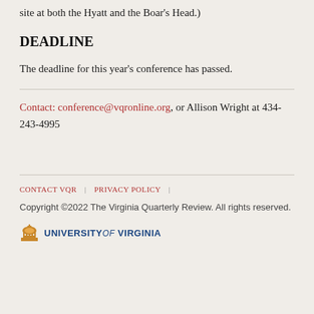site at both the Hyatt and the Boar's Head.)
DEADLINE
The deadline for this year's conference has passed.
Contact: conference@vqronline.org, or Allison Wright at 434-243-4995
CONTACT VQR | PRIVACY POLICY | Copyright ©2022 The Virginia Quarterly Review. All rights reserved. University of Virginia